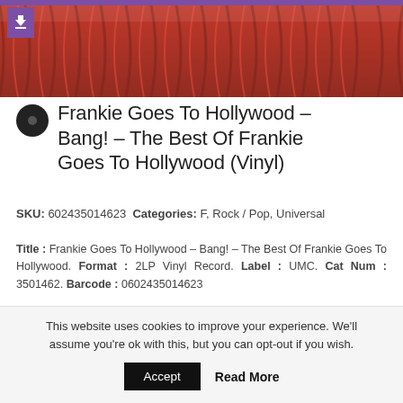[Figure (photo): Red curtain/drapes background image with purple bar at top and a purple download icon overlay]
Frankie Goes To Hollywood – Bang! – The Best Of Frankie Goes To Hollywood (Vinyl)
SKU: 602435014623  Categories: F, Rock / Pop, Universal
Title : Frankie Goes To Hollywood – Bang! – The Best Of Frankie Goes To Hollywood. Format : 2LP Vinyl Record. Label : UMC. Cat Num : 3501462. Barcode : 0602435014623
Release Date : December 11th 2020
This website uses cookies to improve your experience. We'll assume you're ok with this, but you can opt-out if you wish.